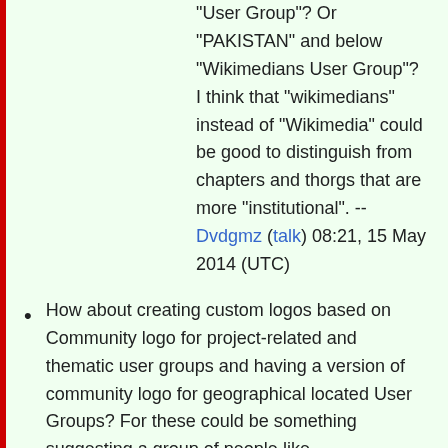"User Group"? Or "PAKISTAN" and below "Wikimedians User Group"? I think that "wikimedians" instead of "Wikimedia" could be good to distinguish from chapters and thorgs that are more "institutional". -- Dvdgmz (talk) 08:21, 15 May 2014 (UTC)
How about creating custom logos based on Community logo for project-related and thematic user groups and having a version of community logo for geographical located User Groups? For these could be something suggesting a group of people like